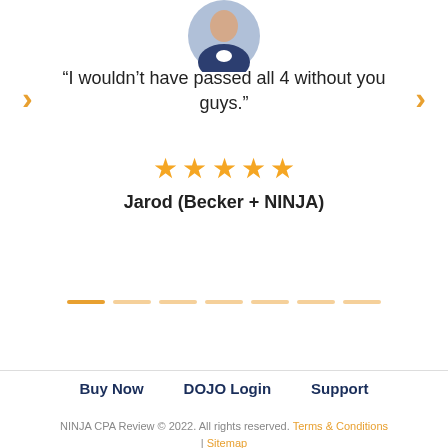[Figure (photo): Circular profile photo of a man wearing a dark suit jacket and light shirt]
“I wouldn’t have passed all 4 without you guys.”
[Figure (infographic): Five orange star rating]
Jarod (Becker + NINJA)
[Figure (infographic): Slider progress indicator with one solid orange dash followed by several lighter orange dashes]
Buy Now
DOJO Login
Support
NINJA CPA Review © 2022. All rights reserved. Terms & Conditions | Sitemap